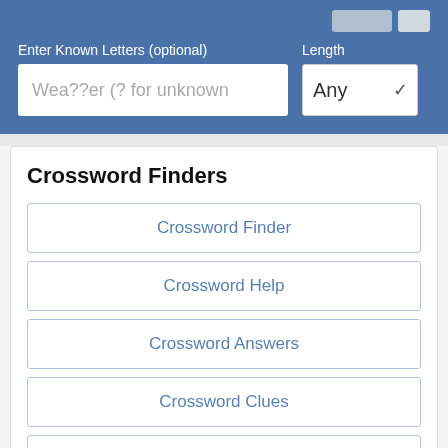Enter Known Letters (optional)
Length
Wea??er (? for unknown)
Any
Crossword Finders
Crossword Finder
Crossword Help
Crossword Answers
Crossword Clues
Crossword Hints